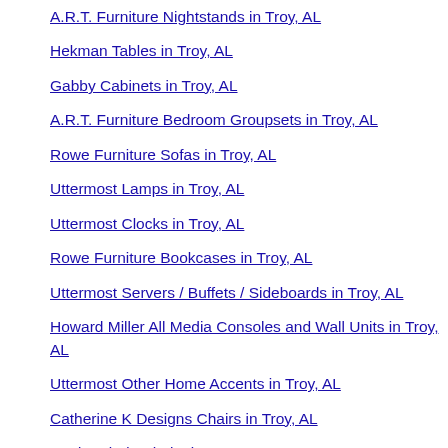A.R.T. Furniture Nightstands in Troy, AL
Hekman Tables in Troy, AL
Gabby Cabinets in Troy, AL
A.R.T. Furniture Bedroom Groupsets in Troy, AL
Rowe Furniture Sofas in Troy, AL
Uttermost Lamps in Troy, AL
Uttermost Clocks in Troy, AL
Rowe Furniture Bookcases in Troy, AL
Uttermost Servers / Buffets / Sideboards in Troy, AL
Howard Miller All Media Consoles and Wall Units in Troy, AL
Uttermost Other Home Accents in Troy, AL
Catherine K Designs Chairs in Troy, AL
Trade Winds Chairs in Troy, AL